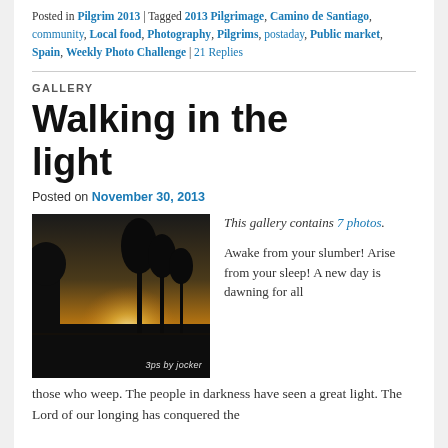Posted in Pilgrim 2013 | Tagged 2013 Pilgrimage, Camino de Santiago, community, Local food, Photography, Pilgrims, postaday, Public market, Spain, Weekly Photo Challenge | 21 Replies
GALLERY
Walking in the light
Posted on November 30, 2013
[Figure (photo): Outdoor scene at dusk or dawn with silhouetted trees against a bright sky, dark landscape in foreground. Watermark: 3ps by jocker]
This gallery contains 7 photos.
Awake from your slumber! Arise from your sleep! A new day is dawning for all those who weep. The people in darkness have seen a great light. The Lord of our longing has conquered the